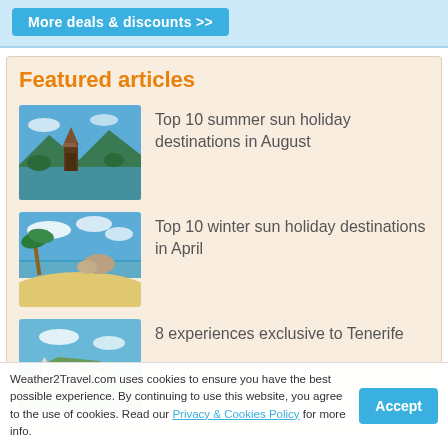[Figure (other): More deals & discounts >> button on light blue banner]
Featured articles
[Figure (photo): Temple by a lake with mountains in background - Bali style]
Top 10 summer sun holiday destinations in August
[Figure (photo): Tropical beach with rocks and palm trees]
Top 10 winter sun holiday destinations in April
[Figure (photo): Aerial view of Tenerife coastal town]
8 experiences exclusive to Tenerife
Weather2Travel.com uses cookies to ensure you have the best possible experience. By continuing to use this website, you agree to the use of cookies. Read our Privacy & Cookies Policy for more info.